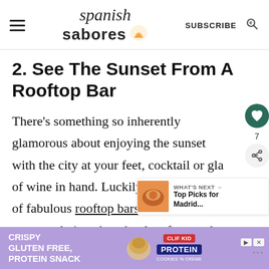spanish sabores — SUBSCRIBE
2. See The Sunset From A Rooftop Bar
There's something so inherently glamorous about enjoying the sunset with the city at your feet, cocktail or gla of wine in hand. Luckily, there are plenty of fabulous rooftop bars in Madr you can do just that. A select few, such as th
[Figure (other): Advertisement banner: CRISPY GLUTEN FREE. PROTEIN SNACK with purple background and snack imagery]
[Figure (other): What's Next promotional thumbnail: Top Picks for Madrid...]